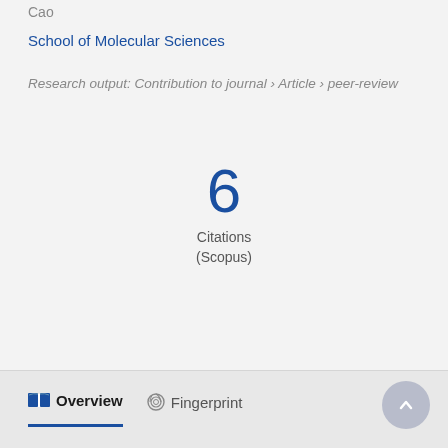Cao
School of Molecular Sciences
Research output: Contribution to journal › Article › peer-review
6
Citations
(Scopus)
Overview   Fingerprint